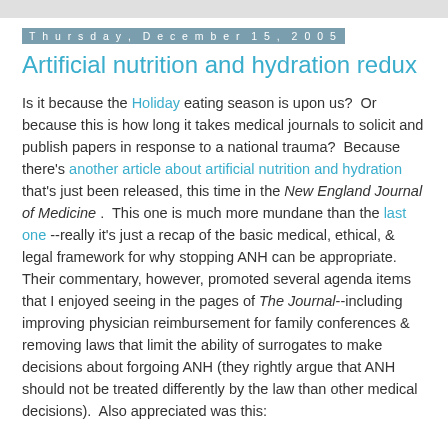Thursday, December 15, 2005
Artificial nutrition and hydration redux
Is it because the Holiday eating season is upon us?  Or because this is how long it takes medical journals to solicit and publish papers in response to a national trauma?  Because there's another article about artificial nutrition and hydration that's just been released, this time in the New England Journal of Medicine .  This one is much more mundane than the last one --really it's just a recap of the basic medical, ethical, & legal framework for why stopping ANH can be appropriate.  Their commentary, however, promoted several agenda items that I enjoyed seeing in the pages of The Journal--including improving physician reimbursement for family conferences & removing laws that limit the ability of surrogates to make decisions about forgoing ANH (they rightly argue that ANH should not be treated differently by the law than other medical decisions).  Also appreciated was this: